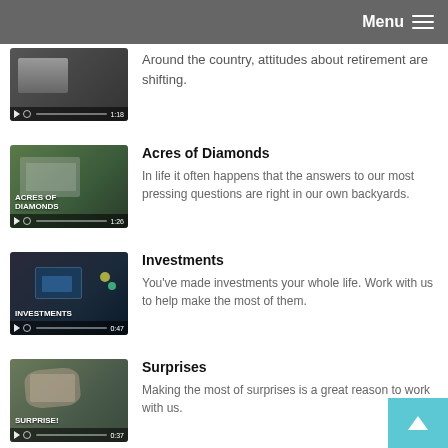Menu
Around the country, attitudes about retirement are shifting.
[Figure (screenshot): Video thumbnail labeled ACRES OF DIAMONDS with duration 1:26]
Acres of Diamonds
In life it often happens that the answers to our most pressing questions are right in our own backyards.
[Figure (screenshot): Video thumbnail labeled INVESTMENTS with duration 0:47]
Investments
You've made investments your whole life. Work with us to help make the most of them.
[Figure (screenshot): Video thumbnail labeled SURPRISE! with duration 0:37]
Surprises
Making the most of surprises is a great reason to work with us.